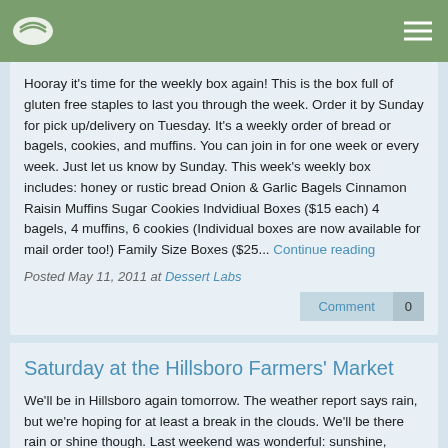Navigation bar with logo and menu
Hooray it's time for the weekly box again! This is the box full of gluten free staples to last you through the week. Order it by Sunday for pick up/delivery on Tuesday. It's a weekly order of bread or bagels, cookies, and muffins. You can join in for one week or every week. Just let us know by Sunday. This week's weekly box includes: honey or rustic bread Onion & Garlic Bagels Cinnamon Raisin Muffins Sugar Cookies Indvidiual Boxes ($15 each) 4 bagels, 4 muffins, 6 cookies (Individual boxes are now available for mail order too!) Family Size Boxes ($25... Continue reading
Posted May 11, 2011 at Dessert Labs
Saturday at the Hillsboro Farmers' Market
We'll be in Hillsboro again tomorrow. The weather report says rain, but we're hoping for at least a break in the clouds. We'll be there rain or shine though. Last weekend was wonderful: sunshine, friendly faces, gluten free treats, and lots of new experiences for us. Ok, on to the good stuff! This Saturday you can find us with all sorts of goodies: Sweet Cream Cream Puffs Mini Apple Pies (Adorable and tasty!) Giant Peanutbutter Chocolate Chip Cookies Jumbo Banana Walnut Muffins Bagels (In the plain, sesame, and everything variety) Bread (Flavors: